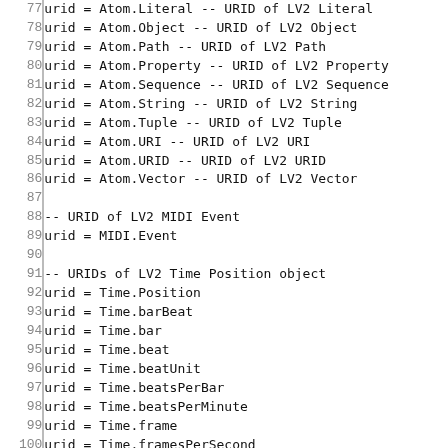Code listing lines 77-106: LV2/MIDI/Time/OSC URID assignments in Haskell-like syntax
77  urid = Atom.Literal -- URID of LV2 Literal
78  urid = Atom.Object -- URID of LV2 Object
79  urid = Atom.Path -- URID of LV2 Path
80  urid = Atom.Property -- URID of LV2 Property
81  urid = Atom.Sequence -- URID of LV2 Sequence
82  urid = Atom.String -- URID of LV2 String
83  urid = Atom.Tuple -- URID of LV2 Tuple
84  urid = Atom.URI -- URID of LV2 URI
85  urid = Atom.URID -- URID of LV2 URID
86  urid = Atom.Vector -- URID of LV2 Vector
87  (empty)
88  -- URID of LV2 MIDI Event
89  urid = MIDI.Event
90  (empty)
91  -- URIDs of LV2 Time Position object
92  urid = Time.Position
93  urid = Time.barBeat
94  urid = Time.bar
95  urid = Time.beat
96  urid = Time.beatUnit
97  urid = Time.beatsPerBar
98  urid = Time.beatsPerMinute
99  urid = Time.frame
100 urid = Time.framesPerSecond
101 urid = Time.speed
102 (empty)
103 -- URIDs of OSC objects
104 urid = OSC.Event
105 urid = OSC.Bundle
106 urid = OSC.Message